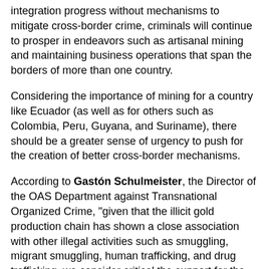integration progress without mechanisms to mitigate cross-border crime, criminals will continue to prosper in endeavors such as artisanal mining and maintaining business operations that span the borders of more than one country.
Considering the importance of mining for a country like Ecuador (as well as for others such as Colombia, Peru, Guyana, and Suriname), there should be a greater sense of urgency to push for the creation of better cross-border mechanisms.
According to Gastón Schulmeister, the Director of the OAS Department against Transnational Organized Crime, "given that the illicit gold production chain has shown a close association with other illegal activities such as smuggling, migrant smuggling, human trafficking, and drug trafficking, we consider critical the support for the creation of National Task Forces Against Illegal Mining across the region as a mechanism to increase the number of investigations and prosecutions and to provide training on how to conduct financial investigations and on how to apply the existing legal frameworks on money laundering, illegal mining, and asset recovery cases." In the same sense, Schulmeister also emphasized that "the establishment of an informal regional network of these National Task Forces is another key dimension on which to invest efforts to promote